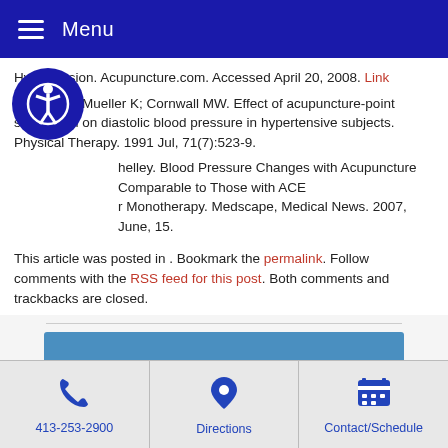Menu
Hypertension. Acupuncture.com. Accessed April 20, 2008. Link
Williams T; Mueller K; Cornwall MW. Effect of acupuncture-point stimulation on diastolic blood pressure in hypertensive subjects. Physical Therapy. 1991 Jul, 71(7):523-9.
...helley. Blood Pressure Changes with Acupuncture Comparable to Those with ACE ...r Monotherapy. Medscape, Medical News. 2007, June, 15.
This article was posted in . Bookmark the permalink. Follow comments with the RSS feed for this post. Both comments and trackbacks are closed.
Click here to Schedule Online Now
The Acupuncture Works
413-253-2900
Directions
Contact/Schedule